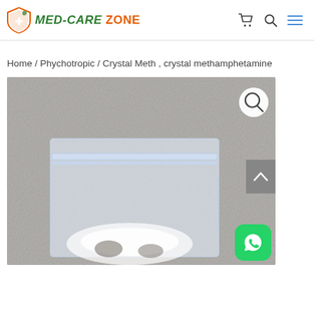MED-CARE ZONE
Home / Phychotropic / Crystal Meth , crystal methamphetamine
[Figure (photo): A clear zip-lock plastic bag containing white crystalline substance (crystal methamphetamine) on a grey speckled background. A magnifying glass icon appears in the top right corner of the image.]